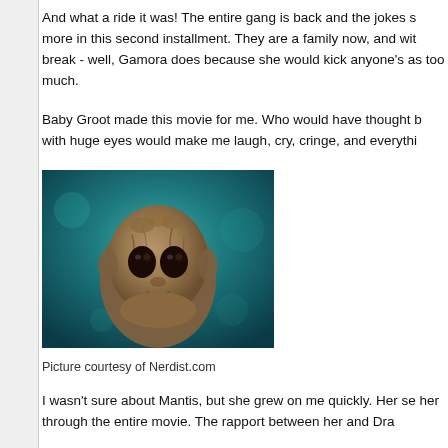And what a ride it was! The entire gang is back and the jokes s more in this second installment. They are a family now, and wit break - well, Gamora does because she would kick anyone's as too much.
Baby Groot made this movie for me. Who would have thought b with huge eyes would make me laugh, cry, cringe, and everythi
[Figure (photo): Baby Groot from Guardians of the Galaxy Vol. 2, a small tree creature with big dark eyes looking at the camera against a blueish background]
Picture courtesy of Nerdist.com
I wasn't sure about Mantis, but she grew on me quickly. Her se her through the entire movie. The rapport between her and Dra
I appreciated the fact that Gamora and Nebula hashed out thei didn't become best friends. It eased a little bit of the tension, bu the chance, if Nebula doesn't attempt to kill Gamora again. I m